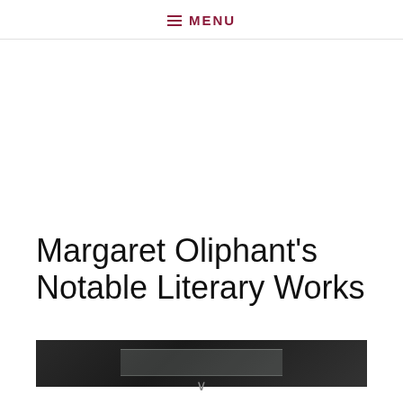≡ MENU
Margaret Oliphant’s Notable Literary Works
[Figure (photo): Dark background image showing what appears to be book spines or literary objects with a light-colored highlight in the center]